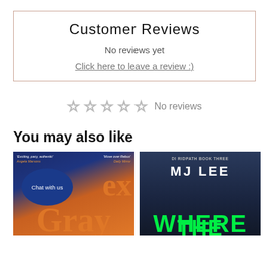Customer Reviews
No reviews yet
Click here to leave a review :)
☆ ☆ ☆ ☆ ☆ No reviews
You may also like
[Figure (photo): Book cover for Alex Gray novel with orange and blue tones, with a 'Chat with us' chat bubble overlay]
[Figure (photo): Book cover for MJ Lee 'DI Ridpath Book Three' with dark background and green neon text reading WHERE]